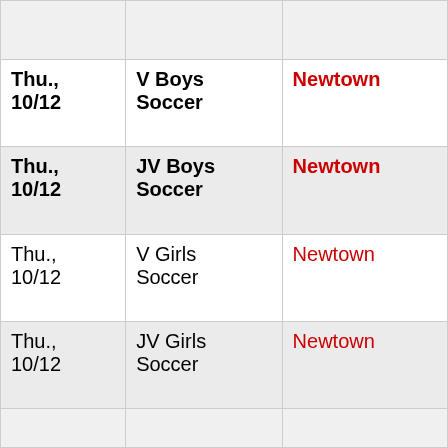| Date | Event | Location |
| --- | --- | --- |
| Thu., 10/12 | V Boys Soccer | Newtown |
| Thu., 10/12 | JV Boys Soccer | Newtown |
| Thu., 10/12 | V Girls Soccer | Newtown |
| Thu., 10/12 | JV Girls Soccer | Newtown |